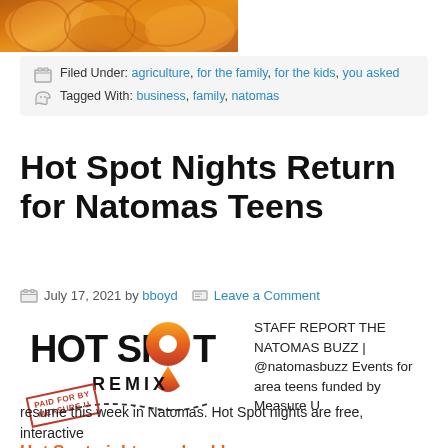[Figure (photo): Close-up photo of orange pumpkins, cropped at top]
Filed Under: agriculture, for the family, for the kids, you asked
Tagged With: business, family, natomas
Hot Spot Nights Return for Natomas Teens
July 17, 2021 by bboyd  Leave a Comment
[Figure (logo): Hot Spot Remix logo with location pin icon, 'PAID FOR BY MEASURE U' stamp, and text 'Hot Spot nights are back!' in orange]
STAFF REPORT THE NATOMAS BUZZ | @natomasbuzz Events for area teens funded by Measure U
resume this week in Natomas. Hot Spot nights are free, interactive